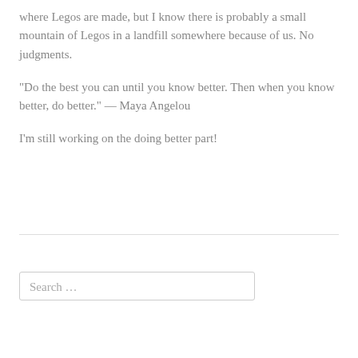where Legos are made, but I know there is probably a small mountain of Legos in a landfill somewhere because of us. No judgments.
“Do the best you can until you know better. Then when you know better, do better.” — Maya Angelou
I’m still working on the doing better part!